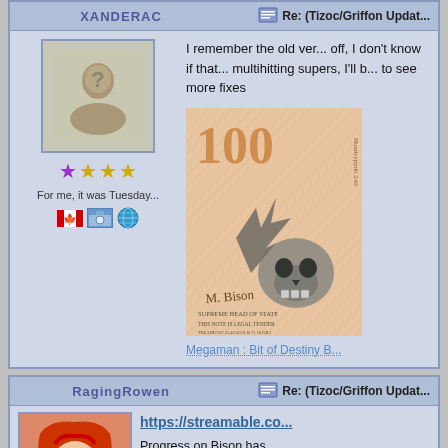XANDERAC
Re: (Tizoc/Griffon Updat...
[Figure (illustration): Default forum avatar with silhouette of a person with a question mark]
★☆☆☆ (one purple star, three gold stars)
For me, it was Tuesday...
[Figure (photo): Canadian flag icon, photo icon, globe icon]
I remember the old ver... off, I don't know if that... multihitting supers, I'll b... to see more fixes
[Figure (illustration): M. Bison themed 100 currency note with skull and lightning bolt design, says SUPREME HEAD OF STATE, THIS NOTE IS LEGAL TENDER]
Megaman : Bit of Destiny B...
RagingRowen
Re: (Tizoc/Griffon Updat...
[Figure (illustration): Anime character avatar with red/orange hair]
https://streamable.co...
Progress on Bison has...